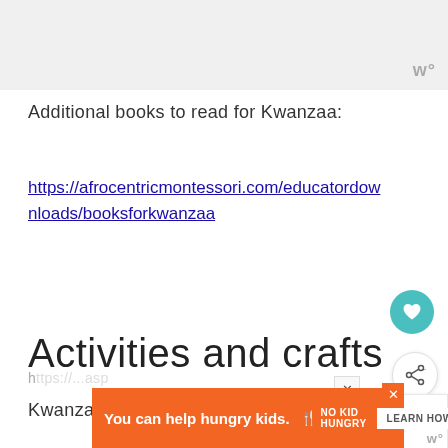[Figure (other): Gray placeholder image area at top of page with small 'w°' logo watermark in bottom right corner]
Additional books to read for Kwanzaa:
https://afrocentricmontessori.com/educatordownloads/booksforkwanzaa
Activities and crafts
Kwanzaa Planning Calendar Countdo
[Figure (other): WHAT'S NEXT panel showing Ukrainian Christmas... article with thumbnail image]
[Figure (other): Advertisement banner: You can help hungry kids. No Kid Hungry. LEARN HOW]